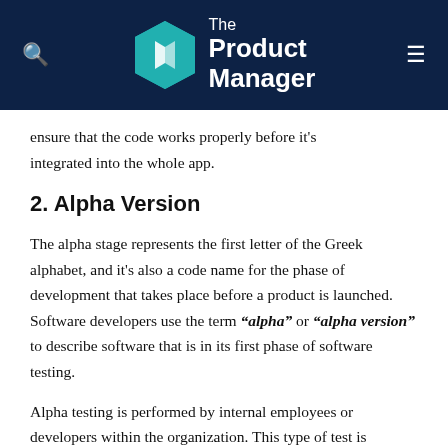The Product Manager
ensure that the code works properly before it's integrated into the whole app.
2. Alpha Version
The alpha stage represents the first letter of the Greek alphabet, and it's also a code name for the phase of development that takes place before a product is launched. Software developers use the term “alpha” or “alpha version” to describe software that is in its first phase of software testing.
Alpha testing is performed by internal employees or developers within the organization. This type of test is